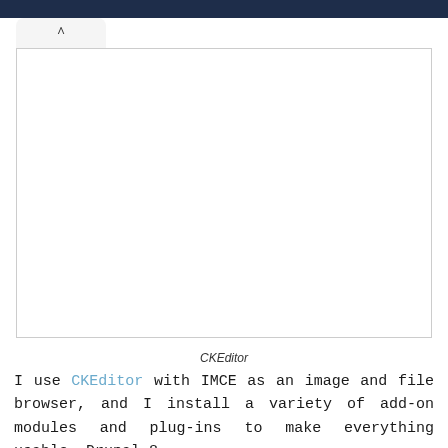[Figure (screenshot): Screenshot of a CKEditor interface with a dark top navigation bar, a tab with an up-caret (^) arrow, and a large white blank editor content area with a border.]
CKEditor
I use CKEditor with IMCE as an image and file browser, and I install a variety of add-on modules and plug-ins to make everything usable. Drupal 8